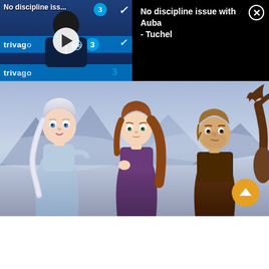[Figure (screenshot): Video thumbnail showing a Chelsea FC press conference with a man in a dark tracksuit, trivago advertising banners, Three and Nike logos, and a play button overlay. Text overlay reads 'No discipline iss...']
No discipline issue with Auba - Tuchel
[Figure (screenshot): Animated movie still from Frozen 2 showing characters Elsa (white-haired woman in light blue dress), Anna (brunette in purple coat), and Kristoff (bearded man in brown) looking concerned, with a reindeer partially visible on the right. Background shows a misty mountain landscape.]